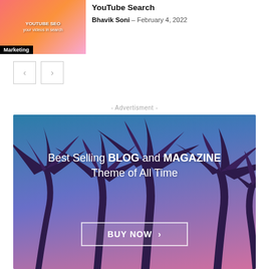[Figure (photo): Thumbnail image for a YouTube SEO article with Marketing label]
YouTube Search
Bhavik Soni – February 4, 2022
[Figure (other): Navigation previous and next arrow buttons]
- Advertisment -
[Figure (photo): Advertisement banner: Best Selling BLOG and MAGAZINE Theme of All Time with BUY NOW button, tropical palm tree background]